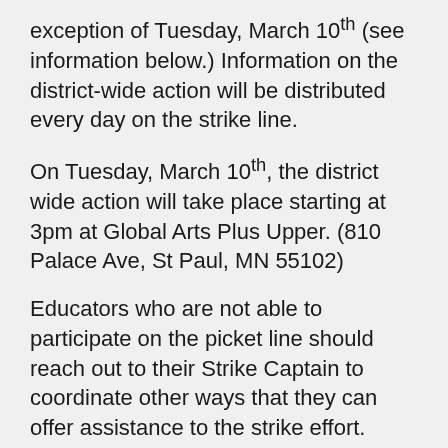exception of Tuesday, March 10th (see information below.) Information on the district-wide action will be distributed every day on the strike line.
On Tuesday, March 10th, the district wide action will take place starting at 3pm at Global Arts Plus Upper. (810 Palace Ave, St Paul, MN 55102)
Educators who are not able to participate on the picket line should reach out to their Strike Captain to coordinate other ways that they can offer assistance to the strike effort.
What do I need for my picket lines?
Feel free to get creative on the picket line. You can bring speakers to play music, noisemakers, materials to make or update